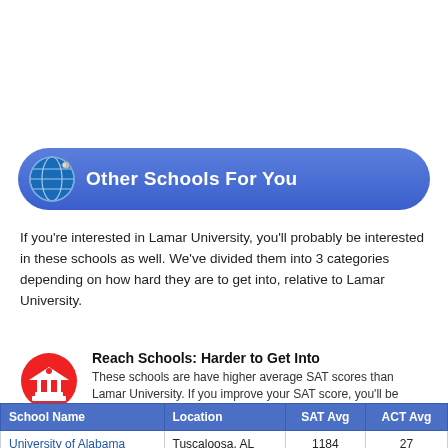Other Schools For You
If you're interested in Lamar University, you'll probably be interested in these schools as well. We've divided them into 3 categories depending on how hard they are to get into, relative to Lamar University.
Reach Schools: Harder to Get Into
These schools are have higher average SAT scores than Lamar University. If you improve your SAT score, you'll be competitive for these schools.
| School Name | Location | SAT Avg | ACT Avg |
| --- | --- | --- | --- |
| University of Alabama | Tuscaloosa, AL | 1184 | 27 |